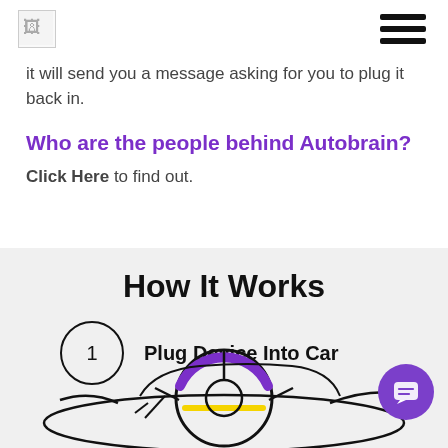[Logo] [Hamburger menu]
it will send you a message asking for you to plug it back in.
Who are the people behind Autobrain?
Click Here to find out.
How It Works
[Figure (infographic): Step 1 icon: a circle with the number 1, labeled 'Plug Device Into Car'. Below is an illustration of a car dashboard/steering wheel with purple and yellow accents.]